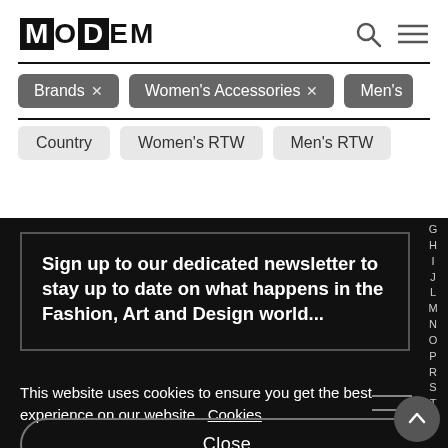[Figure (logo): MODEM logo — M in black box, O, D in black box, E, M text]
Brands× Women's Accessories× Men's
Country Women's RTW Men's RTW
Sign up to our dedicated newsletter to stay up to date on what happens in the Fashion, Art and Design world...
This website uses cookies to ensure you get the best experience on our website. Cookies
Close